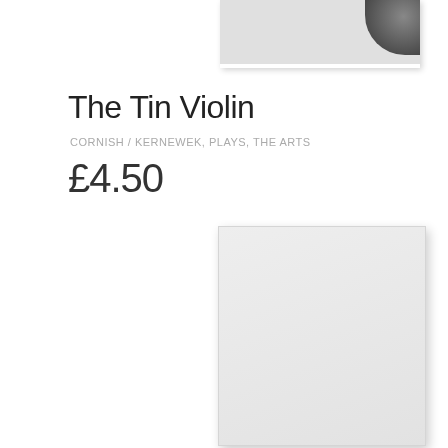[Figure (photo): Partial cropped image at top center, showing a small portion of what appears to be a monochrome photograph with a dark rounded object visible in the upper right corner]
The Tin Violin
CORNISH / KERNEWEK, PLAYS, THE ARTS
£4.50
[Figure (photo): A light grey rectangular book or product image placeholder, shown with a slight shadow, positioned in the lower center-right of the page]